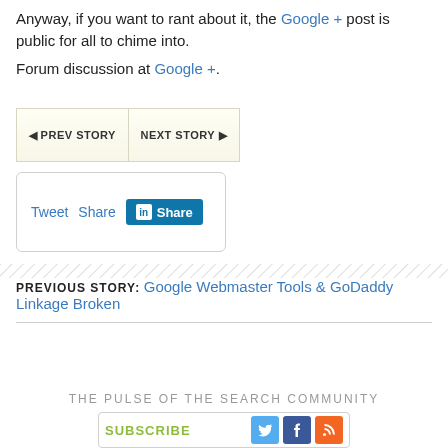Anyway, if you want to rant about it, the Google + post is public for all to chime into.
Forum discussion at Google +.
[Figure (other): Navigation buttons: PREV STORY and NEXT STORY]
[Figure (other): Social sharing buttons: Tweet, Share (Facebook), Share (LinkedIn)]
[Figure (other): Diagonal hatched separator line]
PREVIOUS STORY: Google Webmaster Tools & GoDaddy Linkage Broken
THE PULSE OF THE SEARCH COMMUNITY
[Figure (other): Subscribe box with Twitter, Facebook, and RSS icons]